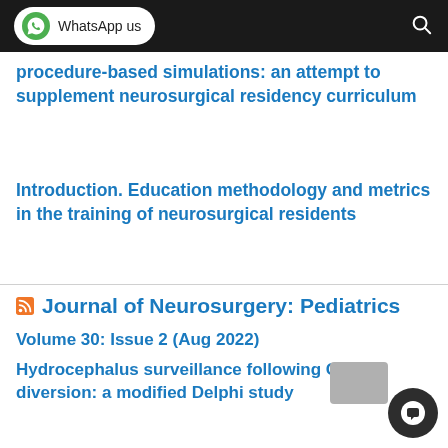WhatsApp us
procedure-based simulations: an attempt to supplement neurosurgical residency curriculum
Introduction. Education methodology and metrics in the training of neurosurgical residents
Journal of Neurosurgery: Pediatrics
Volume 30: Issue 2 (Aug 2022)
Hydrocephalus surveillance following CSF diversion: a modified Delphi study
Letter to the Editor: "the single...